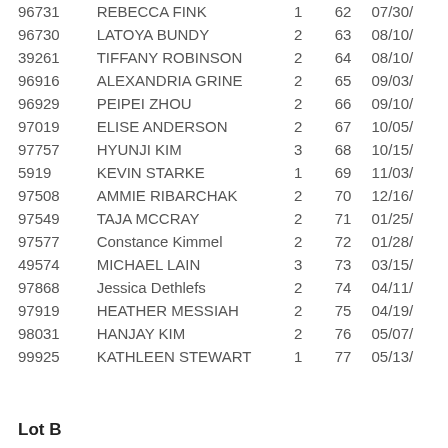| ID | Name | Col3 | Col4 | Date |
| --- | --- | --- | --- | --- |
| 96731 | REBECCA FINK | 1 | 62 | 07/30/... |
| 96730 | LATOYA BUNDY | 2 | 63 | 08/10/... |
| 39261 | TIFFANY ROBINSON | 2 | 64 | 08/10/... |
| 96916 | ALEXANDRIA GRINE | 2 | 65 | 09/03/... |
| 96929 | PEIPEI ZHOU | 2 | 66 | 09/10/... |
| 97019 | ELISE ANDERSON | 2 | 67 | 10/05/... |
| 97757 | HYUNJI KIM | 3 | 68 | 10/15/... |
| 5919 | KEVIN STARKE | 1 | 69 | 11/03/... |
| 97508 | AMMIE RIBARCHAK | 2 | 70 | 12/16/... |
| 97549 | TAJA MCCRAY | 2 | 71 | 01/25/... |
| 97577 | Constance Kimmel | 2 | 72 | 01/28/... |
| 49574 | MICHAEL LAIN | 3 | 73 | 03/15/... |
| 97868 | Jessica Dethlefs | 2 | 74 | 04/11/... |
| 97919 | HEATHER MESSIAH | 2 | 75 | 04/19/... |
| 98031 | HANJAY KIM | 2 | 76 | 05/07/... |
| 99925 | KATHLEEN STEWART | 1 | 77 | 05/13/... |
Lot B